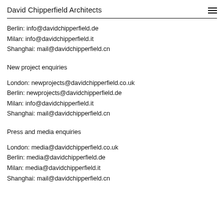David Chipperfield Architects
Berlin: info@davidchipperfield.de
Milan: info@davidchipperfield.it
Shanghai: mail@davidchipperfield.cn
New project enquiries
London: newprojects@davidchipperfield.co.uk
Berlin: newprojects@davidchipperfield.de
Milan: info@davidchipperfield.it
Shanghai: mail@davidchipperfield.cn
Press and media enquiries
London: media@davidchipperfield.co.uk
Berlin: media@davidchipperfield.de
Milan: media@davidchipperfield.it
Shanghai: mail@davidchipperfield.cn